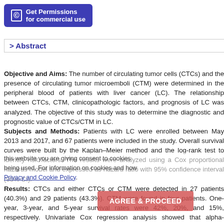Get Permissions for commercial use
> Abstract
Objective and Aims: The number of circulating tumor cells (CTCs) and the presence of circulating tumor microemboli (CTM) were determined in the peripheral blood of patients with liver cancer (LC). The relationship between CTCs, CTM, clinicopathologic factors, and prognosis of LC was analyzed. The objective of this study was to determine the diagnostic and prognostic value of CTCs/CTM in LC. Subjects and Methods: Patients with LC were enrolled between May 2013 and 2017, and 67 patients were included in the study. Overall survival curves were built by the Kaplan–Meier method and the log-rank test to identify risk factors. The results were analyzed using a Cox proportional hazards model and expressed as hazard ratio with 95% confidence interval (95% CI). Results: CTCs and either CTCs or CTM were detected in 27 patients (40.3%) and 29 patients (43.3%). CTM were found in four patients. One-year, 3-year, and 5-year survival rates were 42%, 20%, and 15%, respectively. Univariate Cox regression analysis showed that alpha-fetoprotein (AFP), number of CTCs, presence of CTM, and positive CTC status were associated with survival time. Multivariate Cox regression analysis showed that alpha fetoprotein (AFP), number of CTCs, and presence of CTM were independent factors for survival in patients with LC. Conclusion: There was no significant correlation between the number of CTCs, presence of CTM, and clinicopathologic factors. AFP, number of CTCs, and presence